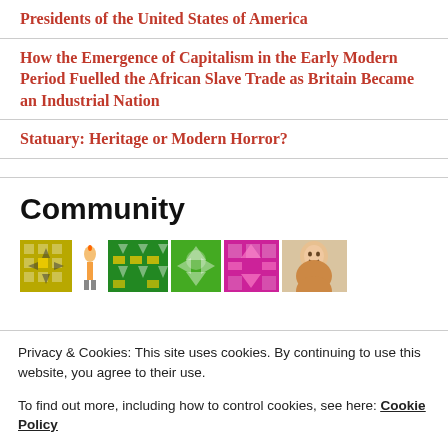Presidents of the United States of America
How the Emergence of Capitalism in the Early Modern Period Fuelled the African Slave Trade as Britain Became an Industrial Nation
Statuary: Heritage or Modern Horror?
Community
[Figure (illustration): Row of colorful patterned avatar icons and one photo of a person]
Privacy & Cookies: This site uses cookies. By continuing to use this website, you agree to their use.
To find out more, including how to control cookies, see here: Cookie Policy
Close and accept
T